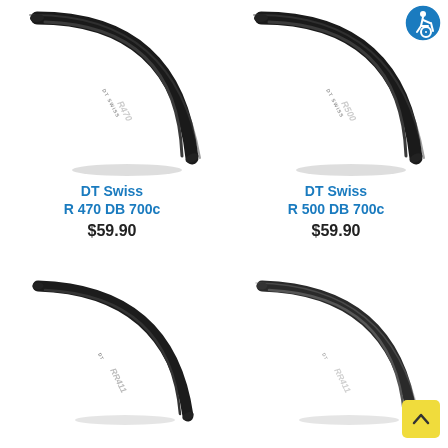[Figure (photo): DT Swiss R 470 DB 700c bicycle rim segment, curved arc shape, black with silver lettering, shown at angle with shadow below]
[Figure (photo): DT Swiss R 500 DB 700c bicycle rim segment, curved arc shape, black with silver lettering, shown at angle with shadow below and accessibility badge icon top right]
DT Swiss
R 470 DB 700c
$59.90
DT Swiss
R 500 DB 700c
$59.90
[Figure (photo): DT Swiss RR411 bicycle rim segment, curved arc shape, black, shown at angle without branding text visible clearly]
[Figure (photo): DT Swiss RR411 bicycle rim segment, curved arc shape, black/silver, shown at angle]